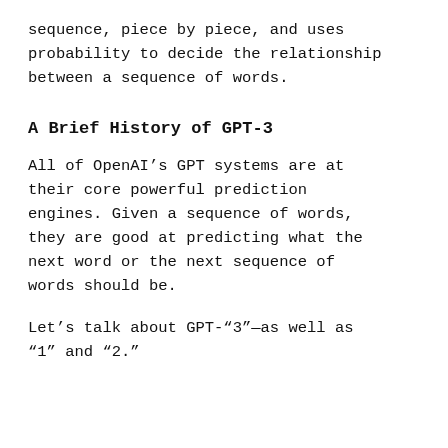sequence, piece by piece, and uses probability to decide the relationship between a sequence of words.
A Brief History of GPT-3
All of OpenAI’s GPT systems are at their core powerful prediction engines. Given a sequence of words, they are good at predicting what the next word or the next sequence of words should be.
Let’s talk about GPT-“3”—as well as “1” and “2.”